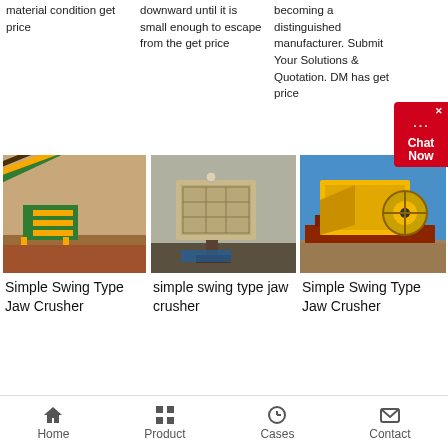material condition get price
downward until it is small enough to escape from the get price
becoming a distinguished manufacturer. Submit Your Solutions & Quotation. DM has get price
[Figure (photo): Yellow and green industrial conveyor/screening machinery on a construction site with red soil]
Simple Swing Type Jaw Crusher
[Figure (photo): Beige/grey impact crusher or jaw crusher machine on a construction site]
simple swing type jaw crusher
[Figure (photo): Yellow jaw crusher machine with red/brown steel frame on a construction site against blue sky]
Simple Swing Type Jaw Crusher
Home  Product  Cases  Contact